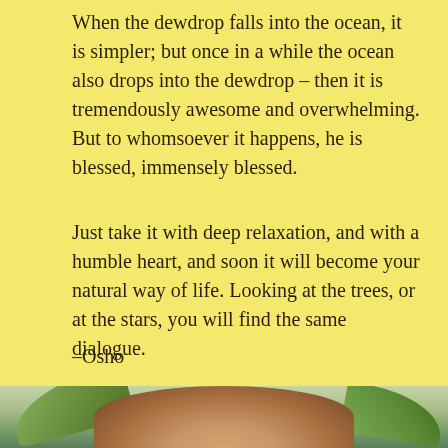When the dewdrop falls into the ocean, it is simpler; but once in a while the ocean also drops into the dewdrop – then it is tremendously awesome and overwhelming. But to whomsoever it happens, he is blessed, immensely blessed.
Just take it with deep relaxation, and with a humble heart, and soon it will become your natural way of life. Looking at the trees, or at the stars, you will find the same dialogue.
–Osho
From The Razor's Edge, Discourse #26
[Figure (photo): Partial photo at the bottom of the page showing a person with dark hair surrounded by green leaves/plants, cropped at the top of the page boundary.]